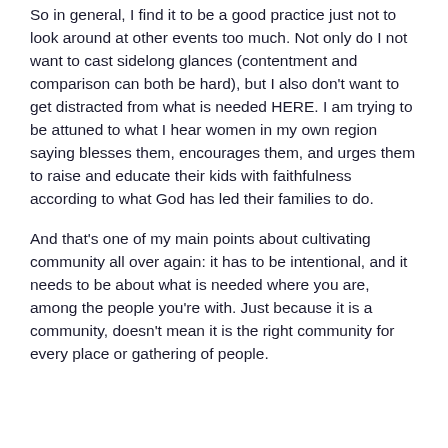So in general, I find it to be a good practice just not to look around at other events too much. Not only do I not want to cast sidelong glances (contentment and comparison can both be hard), but I also don't want to get distracted from what is needed HERE. I am trying to be attuned to what I hear women in my own region saying blesses them, encourages them, and urges them to raise and educate their kids with faithfulness according to what God has led their families to do.
And that's one of my main points about cultivating community all over again: it has to be intentional, and it needs to be about what is needed where you are, among the people you're with. Just because it is a community, doesn't mean it is the right community for every place or gathering of people.